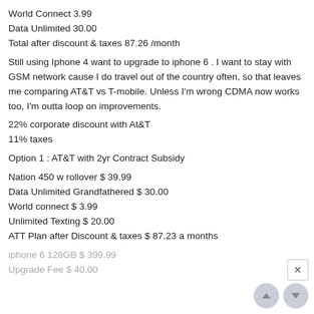World Connect 3.99
Data Unlimited 30.00
Total after discount & taxes 87.26 /month
Still using Iphone 4 want to upgrade to iphone 6 . I want to stay with GSM network cause I do travel out of the country often, so that leaves me comparing AT&T vs T-mobile. Unless I'm wrong CDMA now works too, I'm outta loop on improvements.
22% corporate discount with At&T
11% taxes
Option 1 : AT&T with 2yr Contract Subsidy
Nation 450 w rollover $ 39.99
Data Unlimited Grandfathered $ 30.00
World connect $ 3.99
Unlimited Texting $ 20.00
ATT Plan after Discount & taxes $ 87.23 a months
iphone 6 128GB $ 399.99
Upgrade Fee $ 40.00